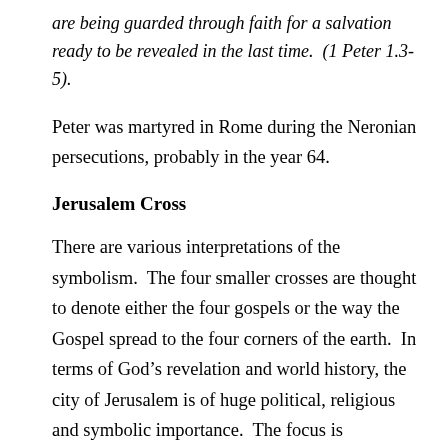are being guarded through faith for a salvation ready to be revealed in the last time.  (1 Peter 1.3-5).
Peter was martyred in Rome during the Neronian persecutions, probably in the year 64.
Jerusalem Cross
There are various interpretations of the symbolism.  The four smaller crosses are thought to denote either the four gospels or the way the Gospel spread to the four corners of the earth.  In terms of God’s revelation and world history, the city of Jerusalem is of huge political, religious and symbolic importance.  The focus is highlighted in the gospels and in the emergence of the first Christian communities described in the Acts of the